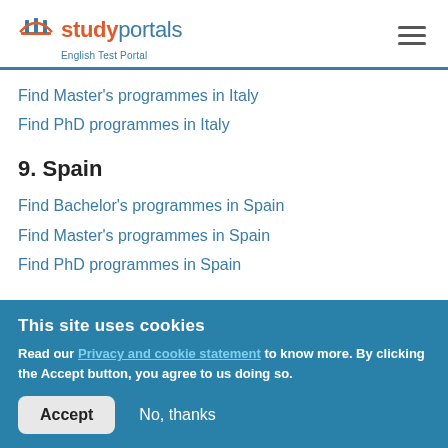studyportals English Test Portal
Find Master's programmes in Italy
Find PhD programmes in Italy
9. Spain
Find Bachelor's programmes in Spain
Find Master's programmes in Spain
Find PhD programmes in Spain
This site uses cookies
Read our Privacy and cookie statement to know more. By clicking the Accept button, you agree to us doing so.
Accept  No, thanks